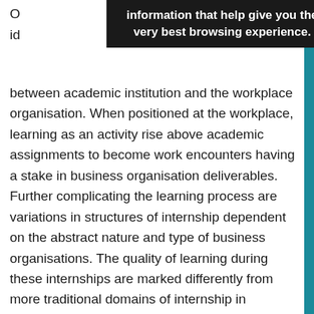[Figure (screenshot): Black tooltip/cookie consent banner overlay showing text: 'information that help give you the very best browsing experience.']
between academic institution and the workplace organisation. When positioned at the workplace, learning as an activity rise above academic assignments to become work encounters having a stake in business organisation deliverables. Further complicating the learning process are variations in structures of internship dependent on the abstract nature and type of business organisations. The quality of learning during these internships are marked differently from more traditional domains of internship in medicine and teacher training where internships are a requisite part of the professional training certification. Careful considerations are therefore needed from organisational and academic institutions to